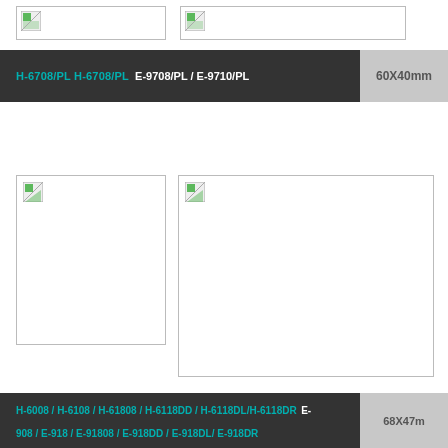[Figure (illustration): Two placeholder image boxes at the top of the page (broken image icons)]
H-6708/PL H-6708/PL   E-9708/PL / E-9710/PL   60X40mm
[Figure (illustration): Small placeholder image box (portrait orientation) with broken image icon]
[Figure (illustration): Larger placeholder image box (landscape orientation) with broken image icon]
H-6008 / H-6108 / H-61808 / H-6118DD / H-6118DL/H-6118DR   E-908 / E-918 / E-91808 / E-918DD / E-918DL/ E-918DR   68X47mm